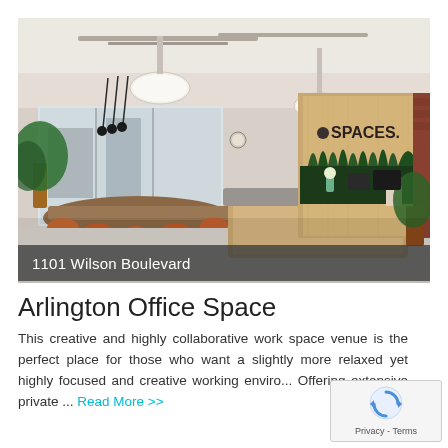[Figure (photo): Interior photo of the Spaces office at 1101 Wilson Boulevard showing a modern coworking space with a reception desk, orange chairs around a wooden table, pendant lights, large windows, and green plants along the back wall with the Spaces logo visible]
1101 Wilson Boulevard
Arlington Office Space
This creative and highly collaborative work space venue is the perfect place for those who want a slightly more relaxed yet highly focused and creative working enviro... Offering extensive private ... Read More >>